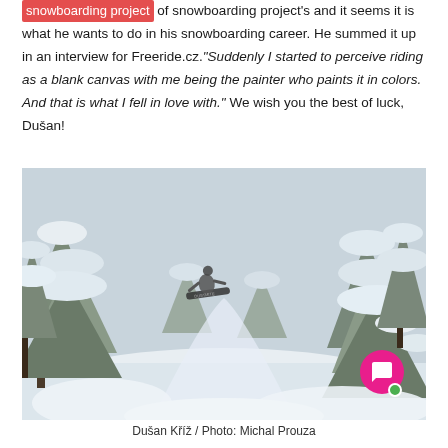of snowboarding project's and it seems it is what he wants to do in his snowboarding career. He summed it up in an interview for Freeride.cz. "Suddenly I started to perceive riding as a blank canvas with me being the painter who paints it in colors. And that is what I fell in love with." We wish you the best of luck, Dušan!
[Figure (photo): A snowboarder in mid-air between snow-laden trees in a deep powder forest, photographed by Michal Prouza.]
Dušan Kříž / Photo: Michal Prouza